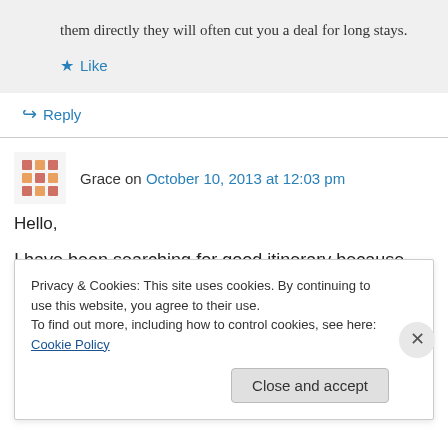them directly they will often cut you a deal for long stays.
★ Like
↪ Reply
Grace on October 10, 2013 at 12:03 pm
Hello,
I have been searching for good itinerary because
Privacy & Cookies: This site uses cookies. By continuing to use this website, you agree to their use. To find out more, including how to control cookies, see here: Cookie Policy
Close and accept